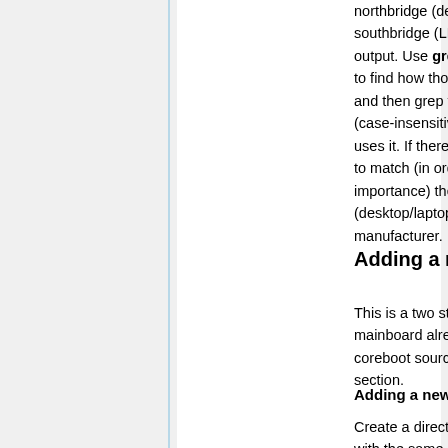northbridge (device 0:0.0) and southbridge (LPC controller) in the lspci output. Use grep on the coreboot tree to find how those chipsets are named, and then grep for the chipset name (case-insensitive) to find a board which uses it. If there are several of them, try to match (in order of decreasing importance) the system type (desktop/laptop), Super I/O and manufacturer.
Adding a new board
This is a two step process. If your mainboard already exists in the coreboot source tree, skip to next section.
Adding a new vendor to the tree
Create a directory in src/mainboard with the same name as the vendor